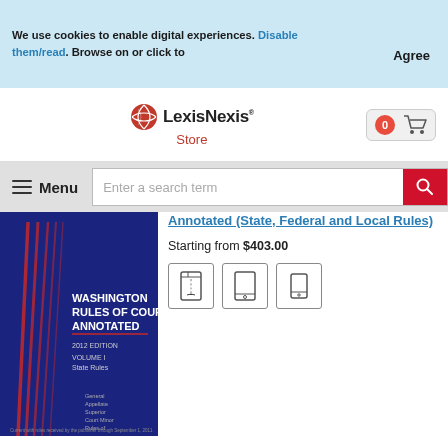We use cookies to enable digital experiences. Disable them/read. Browse on or click to
Agree
[Figure (logo): LexisNexis Store logo with red globe icon]
[Figure (other): Shopping cart icon with 0 badge]
Menu
Enter a search term
Annotated (State, Federal and Local Rules)
Starting from $403.00
[Figure (photo): Washington Rules of Court Annotated book cover, blue with red text, 2012 Edition Volume 1]
[Figure (other): Format icons: book, tablet, small tablet]